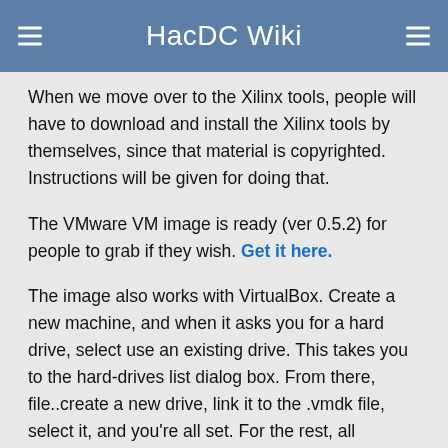HacDC Wiki
When we move over to the Xilinx tools, people will have to download and install the Xilinx tools by themselves, since that material is copyrighted.  Instructions will be given for doing that.
The VMware VM image is ready (ver 0.5.2) for people to grab if they wish.  Get it here.
The image also works with VirtualBox.  Create a new machine, and when it asks you for a hard drive, select use an existing drive.  This takes you to the hard-drives list dialog box.  From there, file..create a new drive, link it to the .vmdk file, select it, and you're all set.  For the rest, all defaults are ok.  (Bother Elliot for hints with VBox.)
There are a few items of note regarding the VM